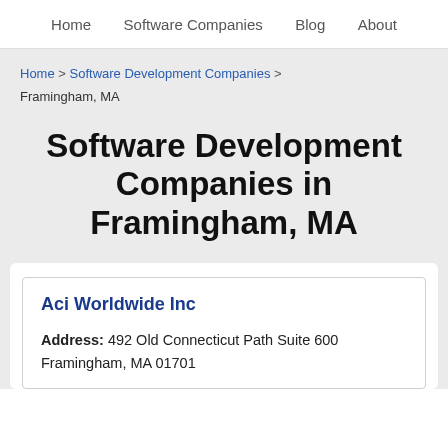Home   Software Companies   Blog   About
Home > Software Development Companies > Framingham, MA
Software Development Companies in Framingham, MA
Aci Worldwide Inc
Address: 492 Old Connecticut Path Suite 600 Framingham, MA 01701